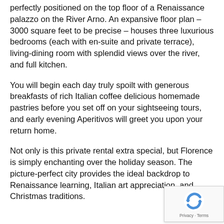perfectly positioned on the top floor of a Renaissance palazzo on the River Arno. An expansive floor plan – 3000 square feet to be precise – houses three luxurious bedrooms (each with en-suite and private terrace), living-dining room with splendid views over the river, and full kitchen.
You will begin each day truly spoilt with generous breakfasts of rich Italian coffee delicious homemade pastries before you set off on your sightseeing tours, and early evening Aperitivos will greet you upon your return home.
Not only is this private rental extra special, but Florence is simply enchanting over the holiday season. The picture-perfect city provides the ideal backdrop to Renaissance learning, Italian art appreciation, and Christmas traditions.